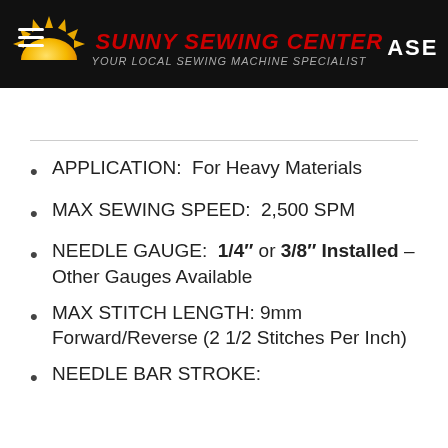Sunny Sewing Center — CHASE
APPLICATION: For Heavy Materials
MAX SEWING SPEED: 2,500 SPM
NEEDLE GAUGE: 1/4" or 3/8" Installed – Other Gauges Available
MAX STITCH LENGTH: 9mm Forward/Reverse (2 1/2 Stitches Per Inch)
NEEDLE BAR STROKE: